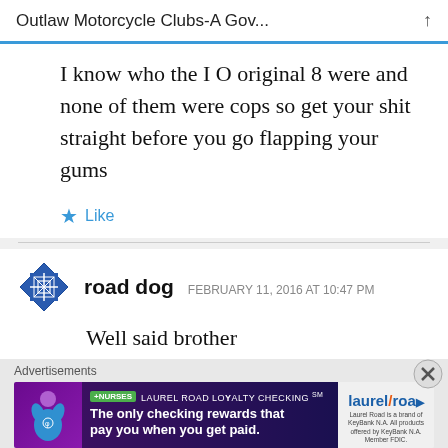Outlaw Motorcycle Clubs-A Gov...
I know who the I O original 8 were and none of them were cops so get your shit straight before you go flapping your gums
Like
road dog  FEBRUARY 11, 2016 AT 10:47 PM
Well said brother
[Figure (other): Advertisement banner: +NURSES LAUREL ROAD LOYALTY CHECKING SM - The only checking rewards that pay you when you get paid. laurel/road logo on right.]